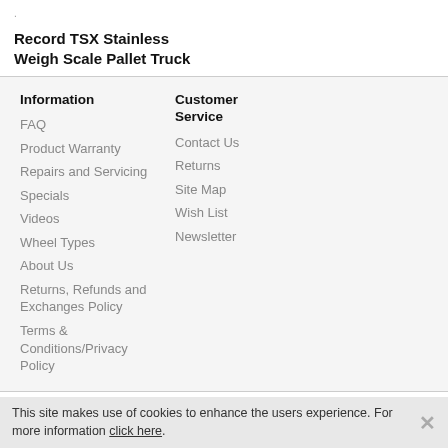.
Record TSX Stainless Weigh Scale Pallet Truck
Information
FAQ
Product Warranty
Repairs and Servicing
Specials
Videos
Wheel Types
About Us
Returns, Refunds and Exchanges Policy
Terms & Conditions/Privacy Policy
Customer Service
Contact Us
Returns
Site Map
Wish List
Newsletter
This site makes use of cookies to enhance the users experience. For more information click here.